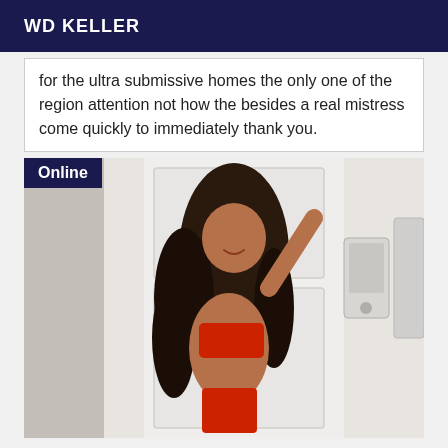WD KELLER
for the ultra submissive homes the only one of the region attention not how the besides a real mistress come quickly to immediately thank you.
[Figure (photo): Woman with long curly dark hair wearing red lingerie, posing against a white door with intercom panel visible. An 'Online' badge overlay appears in the top-left corner.]